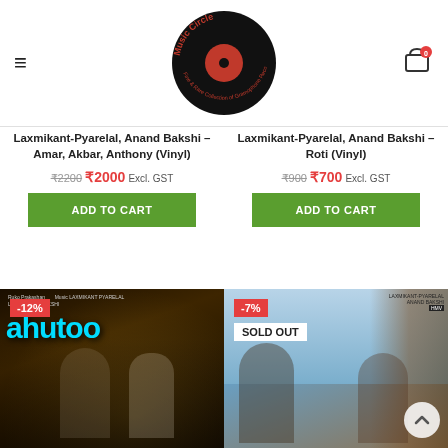[Figure (logo): Music Circle logo - vinyl record with red center, circular text reading 'Music Circle - Fine & Rare Collection of Gramophone Records']
≡
[Figure (illustration): Shopping cart icon with badge showing 0]
Laxmikant-Pyarelal, Anand Bakshi – Amar, Akbar, Anthony (Vinyl)
₹2200 ₹2000 Excl. GST
ADD TO CART
Laxmikant-Pyarelal, Anand Bakshi – Roti (Vinyl)
₹900 ₹700 Excl. GST
ADD TO CART
[Figure (photo): Album cover for Amar Akbar Anthony (Ahutoo) vinyl record showing a dancing couple with -12% discount badge]
[Figure (photo): Album cover for Roti vinyl record showing two people looking upward, with -7% badge and SOLD OUT label]